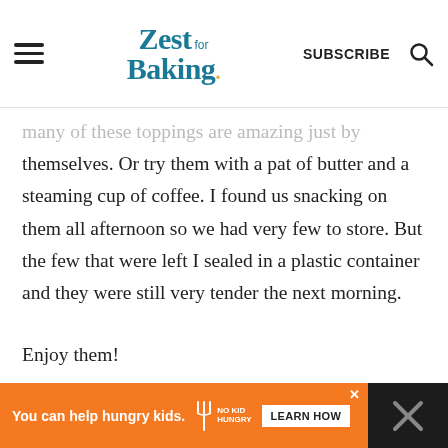Zest for Baking — SUBSCRIBE
many of these toppings are amazing just by themselves. Or try them with a pat of butter and a steaming cup of coffee. I found us snacking on them all afternoon so we had very few to store. But the few that were left I sealed in a plastic container and they were still very tender the next morning.
Enjoy them!